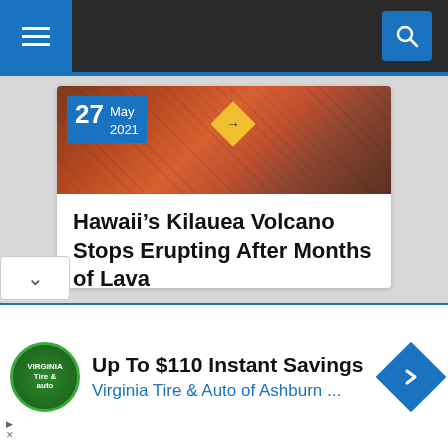[Figure (screenshot): Dark navigation bar with hamburger menu icon on the left (blue background) and search magnifying glass icon on the right (blue background)]
[Figure (photo): Article thumbnail showing lava/volcanic rock in red-orange tones with a yellow road sign visible, dated 27 May 2021]
Hawaii’s Kilauea Volcano Stops Erupting After Months of Lava
[Figure (other): Carousel navigation dots — first dot highlighted in blue, seven remaining dots in dark grey]
[Figure (infographic): Advertisement banner: Virginia Tire & Auto of Ashburn — Up To $110 Instant Savings]